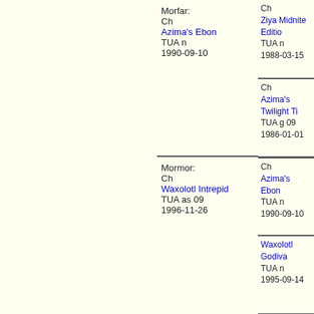[Figure (organizational-chart): Pedigree/family tree chart showing cat ancestry. Left column is empty. Middle column shows two cats: top cell labeled 'Morfar:' with Ch Azima's Ebon TUA n 1990-09-10, bottom cell labeled 'Mormor:' with Ch Waxolotl Intrepid TUA as 09 1996-11-26. Right column has four cells: top-right Ch Ziya Midnite Edition TUA n 1988-03-15; second Ch Azima's Twilight Ti TUA g 09 1986-01-01; third Ch Azima's Ebon TUA n 1990-09-10; fourth Waxolotl Godiva TUA n 1995-09-14.]